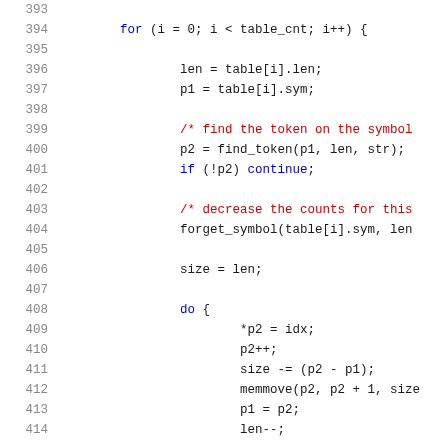Source code snippet, lines 393-414, showing a C for-loop iterating over table entries, finding tokens, forgetting symbols, and doing a do-loop with pointer arithmetic.